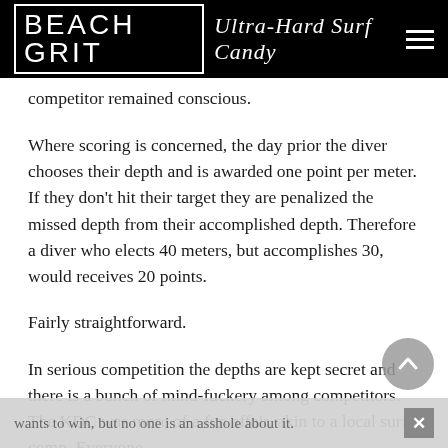BEACH GRIT Ultra-Hard Surf Candy
competitor remained conscious.
Where scoring is concerned, the day prior the diver chooses their depth and is awarded one point per meter. If they don’t hit their target they are penalized the missed depth from their accomplished depth. Therefore a diver who elects 40 meters, but accomplishes 30, would receives 20 points.
Fairly straightforward.
In serious competition the depths are kept secret and there is a bunch of mind-fuckery among competitors. The KDC was more of a fun affair, akin to a local surf comp. Everyone
wants to win, but no one is an asshole about it.